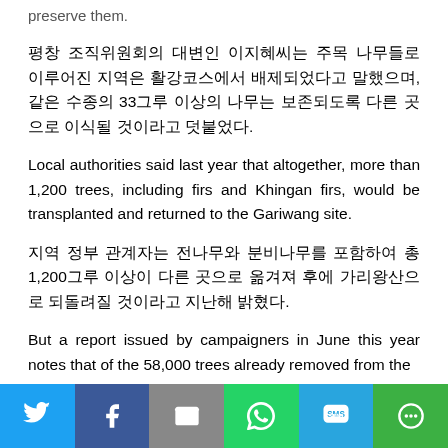preserve them.
평창 조직위원회의 대변인 이지혜씨는 주목 나무들로 이루어진 지역은 활강코스에서 배제되었다고 말했으며, 같은 수종의 33그루 이상의 나무는 보존되도록 다른 곳으로 이식될 것이라고 덧붙었다.
Local authorities said last year that altogether, more than 1,200 trees, including firs and Khingan firs, would be transplanted and returned to the Gariwang site.
지역 정부 관계자는 전나무와 분비나무를 포함하여 총 1,200그루 이상이 다른 곳으로 옮겨져 후에 가리왕산으로 되돌려질 것이라고 지난해 밝혔다.
But a report issued by campaigners in June this year notes that of the 58,000 trees already removed from the